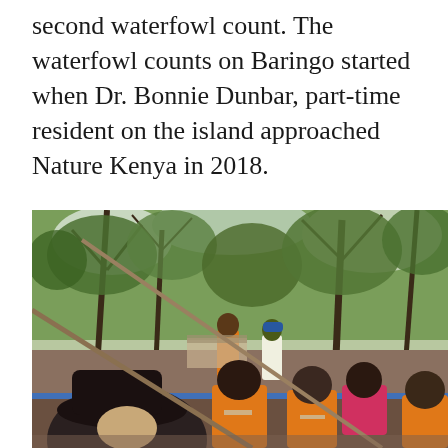second waterfowl count. The waterfowl counts on Baringo started when Dr. Bonnie Dunbar, part-time resident on the island approached Nature Kenya in 2018.
[Figure (photo): People in orange life vests seated in a boat on a lake, with trees in the background. A person in a black hat and another in a blue cap are visible in the foreground.]